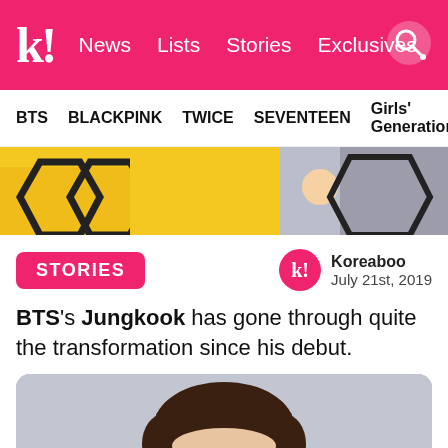k! News Lists Stories Exclusives
BTS BLACKPINK TWICE SEVENTEEN Girls' Generation
[Figure (photo): Banner image showing BTS members in yellow outfits with dark chevron/arrow graphic elements]
STORIES
Koreaboo
July 21st, 2019
BTS's Jungkook has gone through quite the transformation since his debut.
[Figure (photo): Portrait photo of a young man with dark brown bowl-cut hair against a light gray background, showing face from shoulders up]